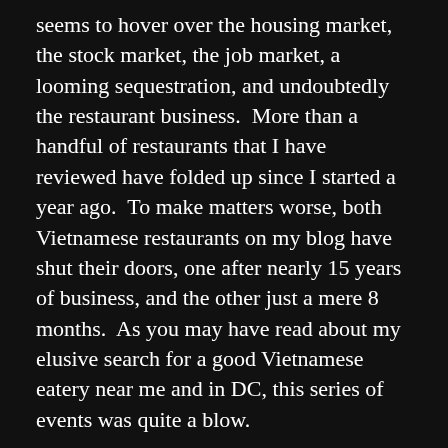seems to hover over the housing market, the stock market, the job market, a looming sequestration, and undoubtedly the restaurant business.  More than a handful of restaurants that I have reviewed have folded up since I started a year ago.  To make matters worse, both Vietnamese restaurants on my blog have shut their doors, one after nearly 15 years of business, and the other just a mere 8 months.  As you may have read about my elusive search for a good Vietnamese eatery near me and in DC, this series of events was quite a blow.
With such daunting news in  mind, I approached my trusty Vietnamese barber and asked her for a reliable recommendation.  She pointed me to Eden Center, in the Seven Corners neighborhood of Fairfax, VA, where there is a confluence of Vietnamese business that populate that rather expansive plaza.  This was one place that I used to visit quite often to savor some good